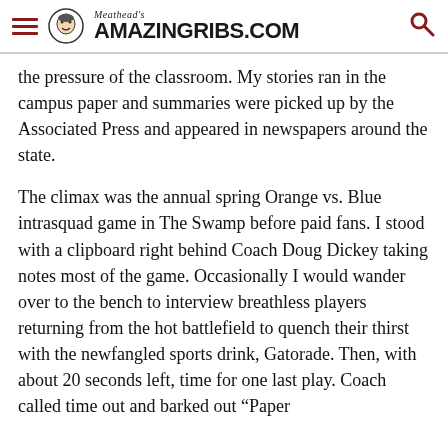Meathead's AmazingRibs.com
the pressure of the classroom. My stories ran in the campus paper and summaries were picked up by the Associated Press and appeared in newspapers around the state.
The climax was the annual spring Orange vs. Blue intrasquad game in The Swamp before paid fans. I stood with a clipboard right behind Coach Doug Dickey taking notes most of the game. Occasionally I would wander over to the bench to interview breathless players returning from the hot battlefield to quench their thirst with the newfangled sports drink, Gatorade. Then, with about 20 seconds left, time for one last play. Coach called time out and barked out “Paper